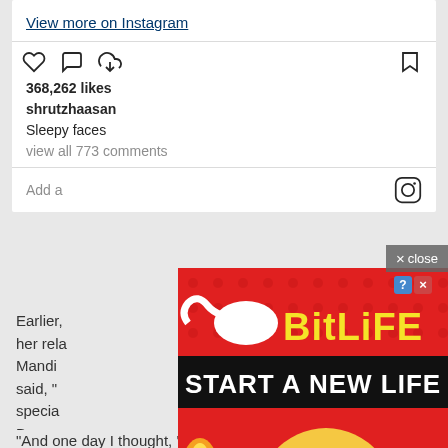View more on Instagram
368,262 likes
shrutzhaasan
Sleepy faces
view all 773 comments
Add a comment...
[Figure (screenshot): BitLife mobile game advertisement with red background, cartoon blonde character doing a facepalm, 'FAIL' text, 'BitLife' logo in yellow, 'START A NEW LIFE' black banner, sperm logo icon]
close
Earlier, [text partially hidden] hiding her rela[tionship partially hidden] ut Mandi[partially hidden] Shruti said, "[partially hidden] specia[partially hidden] Becau[partially hidden] is, you have t[partially hidden]
"And one day I thought, 'For who? For what?' I also felt